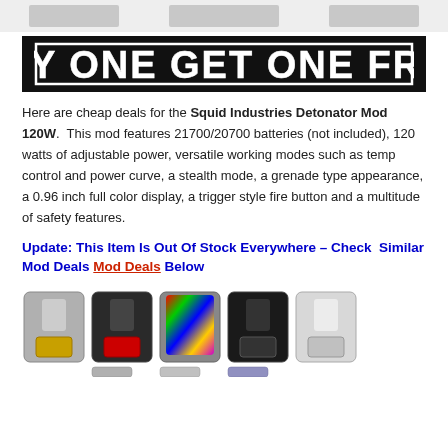[product images header strip]
[Figure (illustration): Black banner with large white outlined bold text reading 'BUY ONE GET ONE FREE']
Here are cheap deals for the Squid Industries Detonator Mod 120W. This mod features 21700/20700 batteries (not included), 120 watts of adjustable power, versatile working modes such as temp control and power curve, a stealth mode, a grenade type appearance, a 0.96 inch full color display, a trigger style fire button and a multitude of safety features.
Update: This Item Is Out Of Stock Everywhere – Check Similar Mod Deals Below
[Figure (photo): Row of vape mod devices in various colors (grey/gold, black/red, rainbow, black, silver) shown in two rows at the bottom of the page]